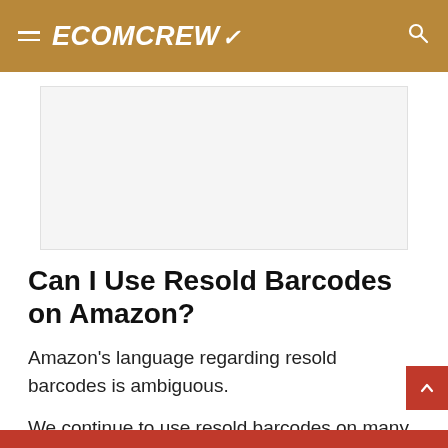ECOMCREW
[Figure (other): Advertisement placeholder banner]
Can I Use Resold Barcodes on Amazon?
Amazon's language regarding resold barcodes is ambiguous.
We continue to use resold barcodes on many